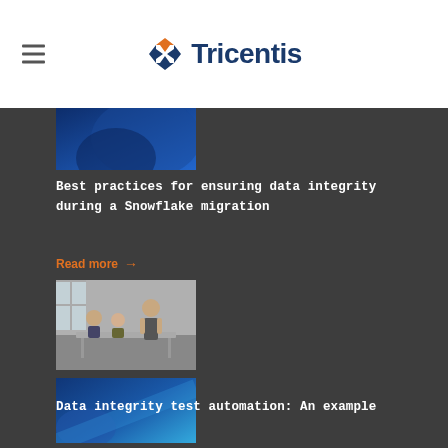Tricentis
[Figure (photo): Blue abstract/tech image for Snowflake migration article]
Best practices for ensuring data integrity during a Snowflake migration
Read more →
[Figure (photo): Office meeting scene with people around a table]
BI and data warehouse testing: Identifying data integrity issues at every DWH phase
Read more →
[Figure (photo): Blue abstract image for data integrity test automation article]
Data integrity test automation: An example